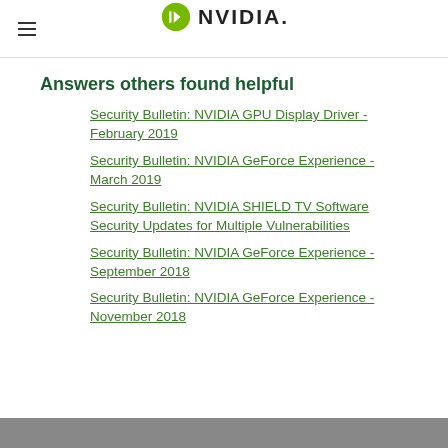NVIDIA
Answers others found helpful
Security Bulletin: NVIDIA GPU Display Driver - February 2019
Security Bulletin: NVIDIA GeForce Experience - March 2019
Security Bulletin: NVIDIA SHIELD TV Software Security Updates for Multiple Vulnerabilities
Security Bulletin: NVIDIA GeForce Experience - September 2018
Security Bulletin: NVIDIA GeForce Experience - November 2018